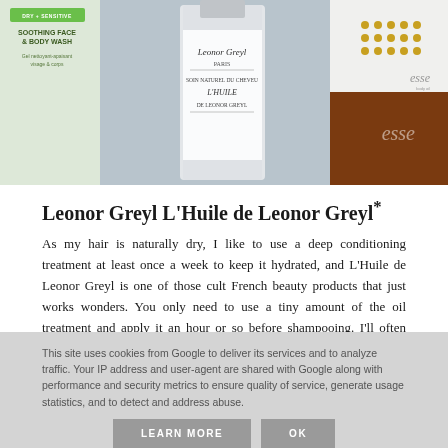[Figure (photo): Product photo showing Leonor Greyl L'Huile de Leonor Greyl bottle alongside other beauty/body products on a flat surface]
Leonor Greyl L'Huile de Leonor Greyl*
As my hair is naturally dry, I like to use a deep conditioning treatment at least once a week to keep it hydrated, and L'Huile de Leonor Greyl is one of those cult French beauty products that just works wonders. You only need to use a tiny amount of the oil treatment and apply it an hour or so before shampooing. I'll often leave it on overnight for the best results and I absolutely love the fragrance! Repurchase? Yes.
This site uses cookies from Google to deliver its services and to analyze traffic. Your IP address and user-agent are shared with Google along with performance and security metrics to ensure quality of service, generate usage statistics, and to detect and address abuse.